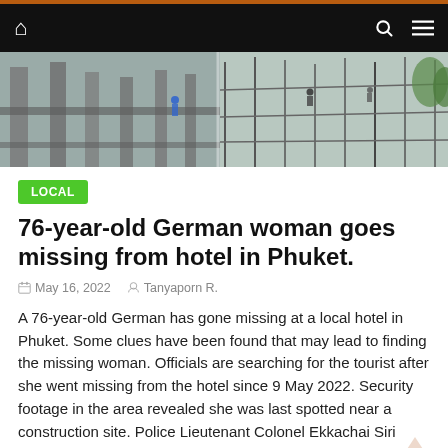Navigation bar with home, search, and menu icons
[Figure (photo): Construction site with workers, concrete structures, scaffolding, and rebar under a light sky, panoramic banner image]
LOCAL
76-year-old German woman goes missing from hotel in Phuket.
May 16, 2022  Tanyaporn R.
A 76-year-old German has gone missing at a local hotel in Phuket. Some clues have been found that may lead to finding the missing woman. Officials are searching for the tourist after she went missing from the hotel since 9 May 2022. Security footage in the area revealed she was last spotted near a construction site. Police Lieutenant Colonel Ekkachai Siri received